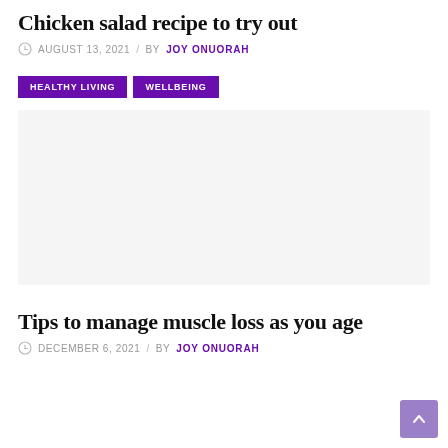Chicken salad recipe to try out
AUGUST 13, 2021 / BY JOY ONUORAH
HEALTHY LIVING   WELLBEING
[Figure (photo): Blank/white image placeholder for chicken salad article]
Tips to manage muscle loss as you age
DECEMBER 6, 2021 / BY JOY ONUORAH